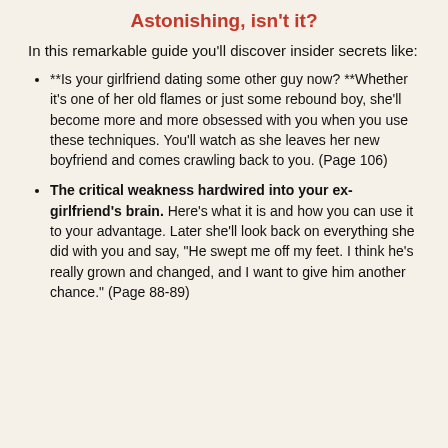Astonishing, isn't it?
In this remarkable guide you'll discover insider secrets like:
**Is your girlfriend dating some other guy now? **Whether it's one of her old flames or just some rebound boy, she'll become more and more obsessed with you when you use these techniques. You'll watch as she leaves her new boyfriend and comes crawling back to you. (Page 106)
The critical weakness hardwired into your ex-girlfriend's brain. Here's what it is and how you can use it to your advantage. Later she'll look back on everything she did with you and say, "He swept me off my feet. I think he's really grown and changed, and I want to give him another chance." (Page 88-89)